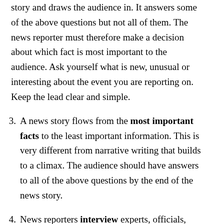story and draws the audience in. It answers some of the above questions but not all of them. The news reporter must therefore make a decision about which fact is most important to the audience. Ask yourself what is new, unusual or interesting about the event you are reporting on. Keep the lead clear and simple.
3. A news story flows from the most important facts to the least important information. This is very different from narrative writing that builds to a climax. The audience should have answers to all of the above questions by the end of the news story.
4. News reporters interview experts, officials, witnesses and other people to gather information for their stories, but some of these questions begin